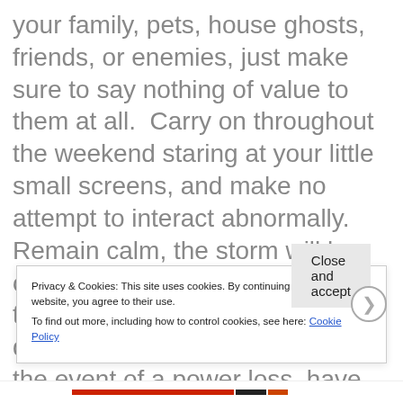your family, pets, house ghosts, friends, or enemies, just make sure to say nothing of value to them at all.  Carry on throughout the weekend staring at your little small screens, and make no attempt to interact abnormally. Remain calm, the storm will be over soon, and you can go back to staring at little small screens during your normal routine.  In the event of a power loss, have many batteries ready so your small screen can remain alight.  If you run out of f... y...
Privacy & Cookies: This site uses cookies. By continuing to use this website, you agree to their use.
To find out more, including how to control cookies, see here: Cookie Policy
Close and accept